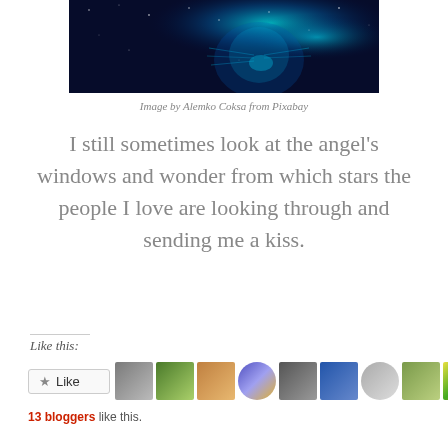[Figure (photo): Glowing blue neon cat or feline creature against a dark starry background, partial view showing head/whiskers area with blue luminescent light effects]
Image by Alemko Coksa from Pixabay
I still sometimes look at the angel's windows and wonder from which stars the people I love are looking through and sending me a kiss.
Like this:
[Figure (screenshot): Like button with star icon and row of 10 blogger avatar thumbnails]
13 bloggers like this.